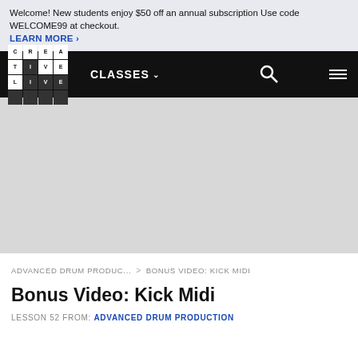Welcome! New students enjoy $50 off an annual subscription Use code WELCOME99 at checkout. LEARN MORE >
[Figure (screenshot): CreativeLive navigation bar with logo grid, CLASSES menu, search icon, and hamburger menu on black background]
[Figure (other): Light gray empty video player area]
ADVANCED DRUM PRODUC... > BONUS VIDEO: KICK MIDI
Bonus Video: Kick Midi
LESSON 52 FROM: ADVANCED DRUM PRODUCTION